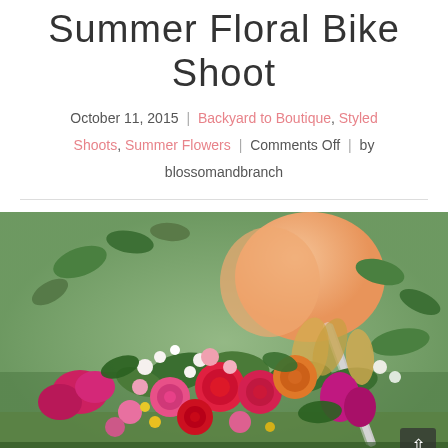Summer Floral Bike Shoot
October 11, 2015 | Backyard to Boutique, Styled Shoots, Summer Flowers | Comments Off | by blossomandbranch
[Figure (photo): A vibrant summer floral arrangement with red, pink, white, and yellow flowers including dahlias, celosias, and mixed blooms in a wheelbarrow or basket on green grass, with an orange gourd visible in the background.]